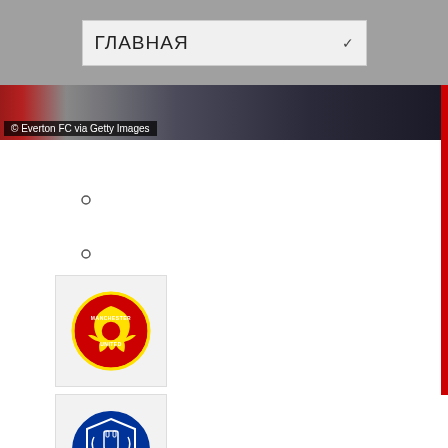ГЛАВНАЯ
[Figure (photo): Sports photo strip with Everton FC players, red and dark blue colors. Copyright: © Everton FC via Getty Images]
© Everton FC via Getty Images
[Figure (logo): Manchester United FC crest logo on grey background]
[Figure (logo): Everton FC crest logo on grey background]
12:12
Players arriving at Old Trafford